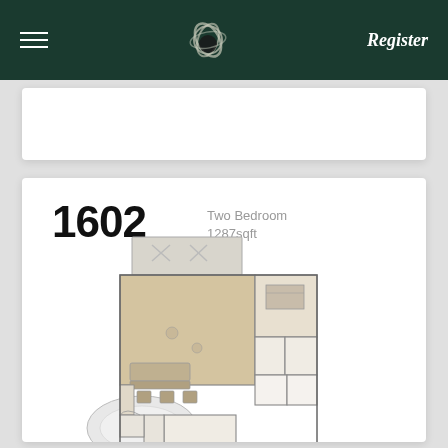Register
1602
Two Bedroom
1287sqft
[Figure (engineering-diagram): Floor plan diagram of unit 1602, a two-bedroom unit of 1287 sqft. The plan shows a layout with two bedrooms, living/dining area with furniture, kitchen, bathrooms, and a curved balcony/entry feature. Rendered in warm beige/tan tones for the main living spaces with white walls and room outlines.]